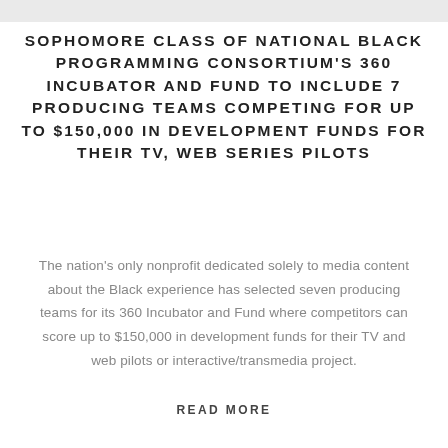SOPHOMORE CLASS OF NATIONAL BLACK PROGRAMMING CONSORTIUM'S 360 INCUBATOR AND FUND TO INCLUDE 7 PRODUCING TEAMS COMPETING FOR UP TO $150,000 IN DEVELOPMENT FUNDS FOR THEIR TV, WEB SERIES PILOTS
The nation's only nonprofit dedicated solely to media content about the Black experience has selected seven producing teams for its 360 Incubator and Fund where competitors can score up to $150,000 in development funds for their TV and web pilots or interactive/transmedia project.
READ MORE